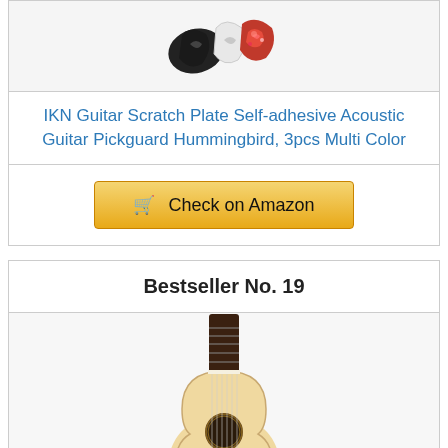[Figure (photo): Guitar pickguard product image showing multiple colorful hummingbird pickguards (black, white, red floral) grouped together]
IKN Guitar Scratch Plate Self-adhesive Acoustic Guitar Pickguard Hummingbird, 3pcs Multi Color
Check on Amazon
Bestseller No. 19
[Figure (photo): Acoustic guitar (natural wood finish, full body view) product photo showing a Taylor-style guitar with spruce top and rosewood fretboard]